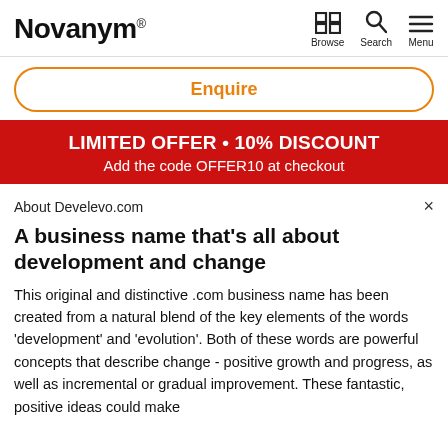Novanym®
Enquire
LIMITED OFFER • 10% DISCOUNT
Add the code OFFER10 at checkout
About Develevo.com
A business name that's all about development and change
This original and distinctive .com business name has been created from a natural blend of the key elements of the words 'development' and 'evolution'. Both of these words are powerful concepts that describe change - positive growth and progress, as well as incremental or gradual improvement. These fantastic, positive ideas could make